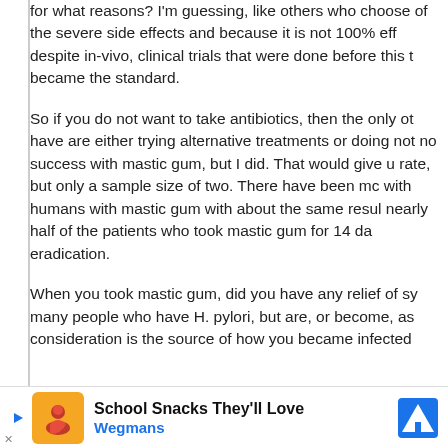for what reasons? I'm guessing, like others who choose of the severe side effects and because it is not 100% eff despite in-vivo, clinical trials that were done before this t became the standard.
So if you do not want to take antibiotics, then the only ot have are either trying alternative treatments or doing not no success with mastic gum, but I did. That would give u rate, but only a sample size of two. There have been mc with humans with mastic gum with about the same resul nearly half of the patients who took mastic gum for 14 da eradication.
When you took mastic gum, did you have any relief of sy many people who have H. pylori, but are, or become, as consideration is the source of how you became infected
[Figure (infographic): Advertisement banner for Wegmans 'School Snacks They'll Love' with orange logo icon, play button, Wegmans text in blue, and a blue diamond navigation sign icon.]